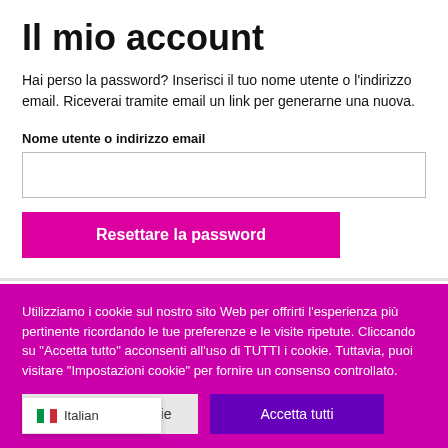Il mio account
Hai perso la password? Inserisci il tuo nome utente o l'indirizzo email. Riceverai tramite email un link per generarne una nuova.
Nome utente o indirizzo email
Resettare la password
Utilizziamo i cookie sul nostro sito Web per offrirti l'esperienza più pertinente ricordando le tue preferenze e le visite ripetute. Cliccando su "Accetta tutto" acconsenti all'uso di TUTTI i cookie. Tuttavia, puoi visitare "Impostazioni cookie" per fornire un consenso controllato.
Impostazioni cookie
Accetta tutti
Italian